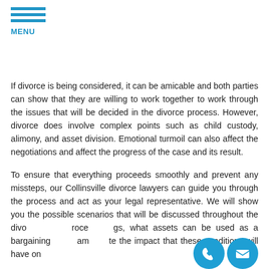MENU
If divorce is being considered, it can be amicable and both parties can show that they are willing to work together to work through the issues that will be decided in the divorce process. However, divorce does involve complex points such as child custody, alimony, and asset division. Emotional turmoil can also affect the negotiations and affect the progress of the case and its result.
To ensure that everything proceeds smoothly and prevent any missteps, our Collinsville divorce lawyers can guide you through the process and act as your legal representative. We will show you the possible scenarios that will be discussed throughout the divorce proceedings, what assets can be used as a bargaining chip and calculate the impact that these conditions will have on...